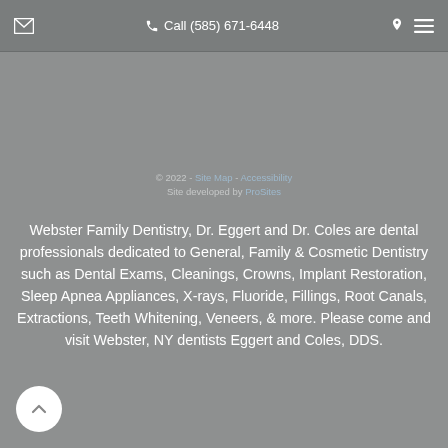Call (585) 671-6448
© 2022 - Site Map - Accessibility
Site developed by ProSites
Webster Family Dentistry, Dr. Eggert and Dr. Coles are dental professionals dedicated to General, Family & Cosmetic Dentistry such as Dental Exams, Cleanings, Crowns, Implant Restoration, Sleep Apnea Appliances, X-rays, Fluoride, Fillings, Root Canals, Extractions, Teeth Whitening, Veneers, & more. Please come and visit Webster, NY dentists Eggert and Coles, DDS.